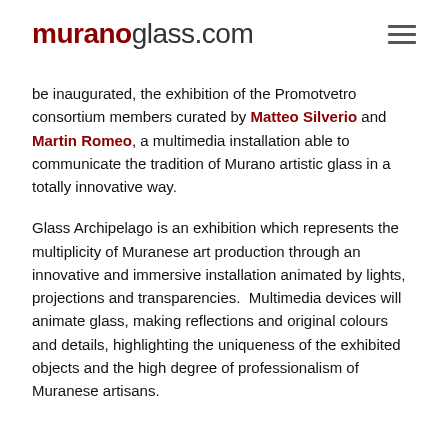muranoglass.com
be inaugurated, the exhibition of the Promotvetro consortium members curated by Matteo Silverio and Martin Romeo, a multimedia installation able to communicate the tradition of Murano artistic glass in a totally innovative way.
Glass Archipelago is an exhibition which represents the multiplicity of Muranese art production through an innovative and immersive installation animated by lights, projections and transparencies.  Multimedia devices will animate glass, making reflections and original colours and details, highlighting the uniqueness of the exhibited objects and the high degree of professionalism of Muranese artisans.